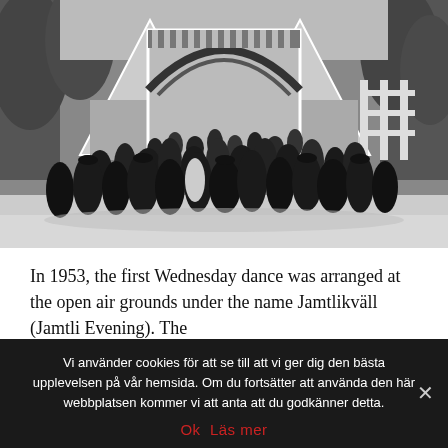[Figure (photo): Black and white historical photograph showing a crowd of people in early 20th century clothing gathered in front of an open-air building with distinctive A-frame roof structures and arched entrance, surrounded by trees.]
In 1953, the first Wednesday dance was arranged at the open air grounds under the name Jamtlikväll (Jamtli Evening). The
Vi använder cookies för att se till att vi ger dig den bästa upplevelsen på vår hemsida. Om du fortsätter att använda den här webbplatsen kommer vi att anta att du godkänner detta.
Ok  Läs mer